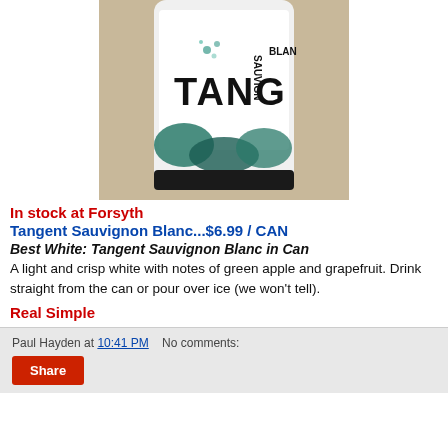[Figure (photo): Close-up photo of a Tangent Sauvignon Blanc wine can showing the label with teal/dark splash design and the text TANG and SAUVIGNON BLANC visible]
In stock at Forsyth
Tangent Sauvignon Blanc...$6.99 / CAN
Best White: Tangent Sauvignon Blanc in Can
A light and crisp white with notes of green apple and grapefruit. Drink straight from the can or pour over ice (we won't tell).
Real Simple
Paul Hayden at 10:41 PM   No comments:
Share